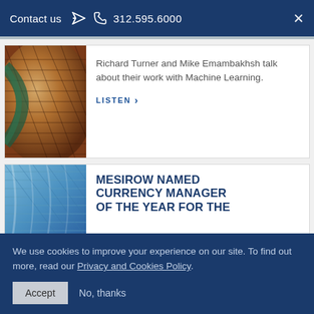Contact us  312.595.6000  ×
Richard Turner and Mike Emambakhsh talk about their work with Machine Learning.
LISTEN ›
MESIROW NAMED CURRENCY MANAGER OF THE YEAR FOR THE
We use cookies to improve your experience on our site. To find out more, read our Privacy and Cookies Policy.
Accept   No, thanks